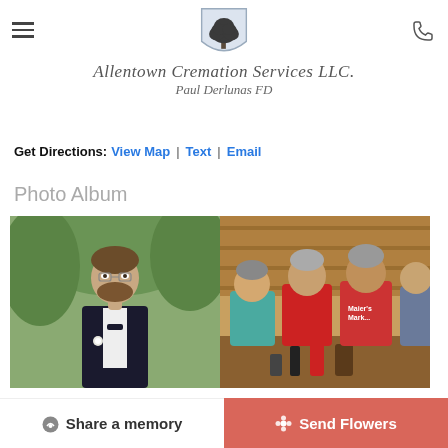[Figure (logo): Allentown Cremation Services LLC logo — shield with tree, italic company name and director name below]
Get Directions: View Map | Text | Email
Photo Album
[Figure (photo): Man in black tuxedo with bow tie and boutonniere, outdoors with trees in background]
[Figure (photo): Group of older men seated around a table in a restaurant/bar setting, one wearing a red Maier's Market shirt]
Share a memory
Send Flowers